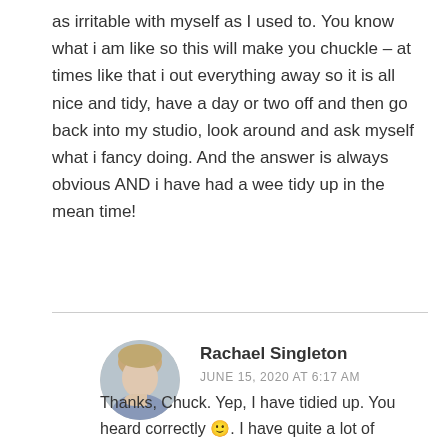as irritable with myself as I used to. You know what i am like so this will make you chuckle – at times like that i out everything away so it is all nice and tidy, have a day or two off and then go back into my studio, look around and ask myself what i fancy doing. And the answer is always obvious AND i have had a wee tidy up in the mean time!
Reply
Rachael Singleton
JUNE 15, 2020 AT 6:17 AM
Thanks, Chuck. Yep, I have tidied up. You heard correctly 🙂. I have quite a lot of learning from it all but I don't want to look at the offending work